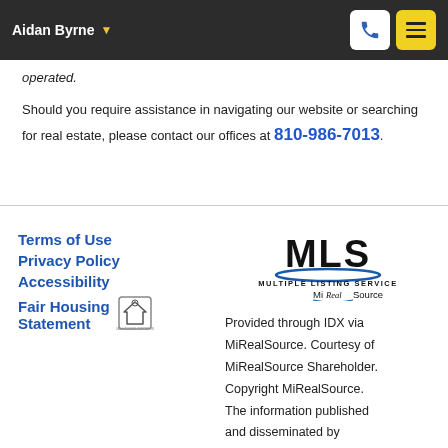Aidan Byrne
operated.
Should you require assistance in navigating our website or searching for real estate, please contact our offices at 810-986-7013.
Terms of Use
Privacy Policy
Accessibility
Fair Housing Statement
[Figure (logo): MLS Multiple Listing Service MiRealSource logo]
Provided through IDX via MiRealSource. Courtesy of MiRealSource Shareholder. Copyright MiRealSource. The information published and disseminated by